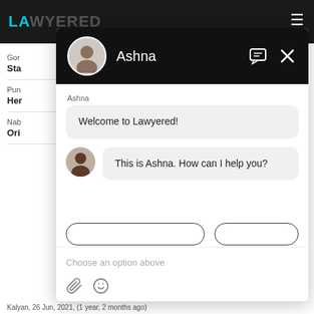[Figure (screenshot): Screenshot of Lawyered website with a chat overlay. The top navigation bar is dark/black with the Lawyered logo in teal. A chat window is open showing an avatar of 'Ashna' in the header, with two chat messages: 'Welcome to Lawyered!' and 'This is Ashna. How can I help you?'. The input area shows 'Choose an option above' placeholder text with attachment and emoji icons. Background shows partially visible lawyer listings.]
Ashna
Welcome to Lawyered!
This is Ashna. How can I help you?
Choose an option above
Kalyan,  26 Jun, 2021,  (1 year, 2 months ago)